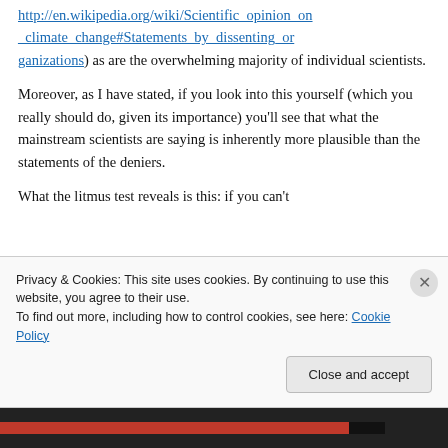http://en.wikipedia.org/wiki/Scientific_opinion_on_climate_change#Statements_by_dissenting_organizations) as are the overwhelming majority of individual scientists.
Moreover, as I have stated, if you look into this yourself (which you really should do, given its importance) you'll see that what the mainstream scientists are saying is inherently more plausible than the statements of the deniers.
What the litmus test reveals is this: if you can't
Privacy & Cookies: This site uses cookies. By continuing to use this website, you agree to their use.
To find out more, including how to control cookies, see here: Cookie Policy